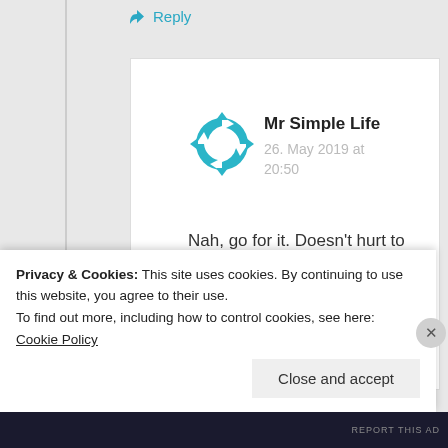↳ Reply
[Figure (logo): Teal circular arrow logo/avatar for Mr Simple Life]
Mr Simple Life
26. May 2019 at 20:50
Nah, go for it. Doesn't hurt to aim high 🙂
★ Like
Privacy & Cookies: This site uses cookies. By continuing to use this website, you agree to their use.
To find out more, including how to control cookies, see here: Cookie Policy
Close and accept